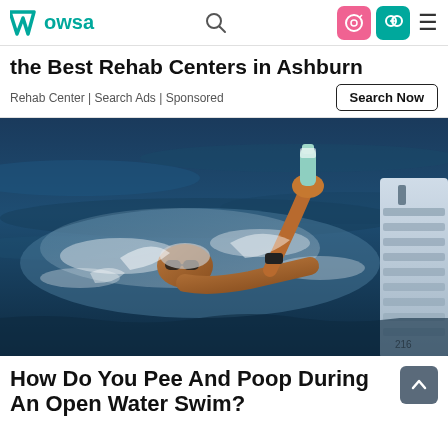WOWSA
the Best Rehab Centers in Ashburn
Rehab Center | Search Ads | Sponsored
[Figure (photo): Open water swimmer mid-stroke, arm raised out of dark blue water holding a small green/white bottle, wearing goggles, with a white boat visible on the right edge.]
How Do You Pee And Poop During An Open Water Swim?